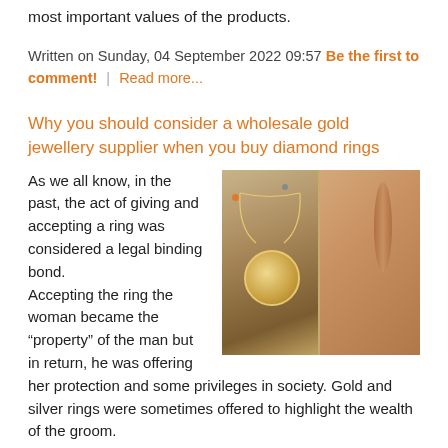most important values of the products.
Written on Sunday, 04 September 2022 09:57  Be the first to comment!  |  Read more...
Why you should consider a wholesale gold jewellery supplier when you buy diamond rings
[Figure (photo): Two side-by-side images: left shows a gold circular pendant necklace against a blurred background; right shows a woman's neck and lower face wearing gold jewellery.]
As we all know, in the past, the act of giving and accepting a ring was considered a legal binding bond. Accepting the ring the woman became the “property” of the man but in return, he was offering her protection and some privileges in society. Gold and silver rings were sometimes offered to highlight the wealth of the groom.